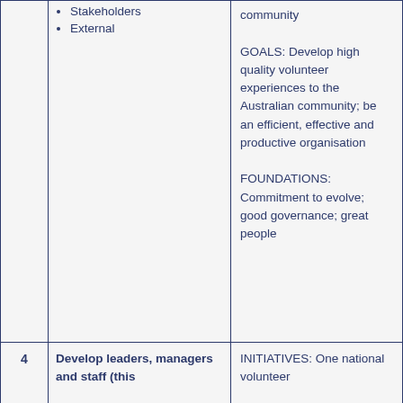| # | Description | Details |
| --- | --- | --- |
|  | • Stakeholders
• External | community

GOALS: Develop high quality volunteer experiences to the Australian community; be an efficient, effective and productive organisation

FOUNDATIONS: Commitment to evolve; good governance; great people |
| 4 | Develop leaders, managers and staff (this | INITIATIVES: One national volunteer |